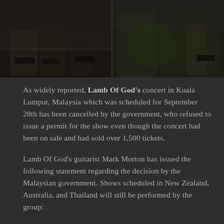[Figure (photo): Dark photograph showing feet/legs of people standing outdoors, split into two panels with outdoor ground/foliage visible]
As widely reported, Lamb Of God's concert in Kuala Lumpur, Malaysia which was scheduled for September 28th has been cancelled by the government, who refused to issue a permit for the show even though the concert had been on sale and had sold over 1,500 tickets.
Lamb Of God's guitarist Mark Morton has issued the following statement regarding the decision by the Malaysian government. Shows scheduled in New Zealand, Australia, and Thailand will still be performed by the group:
“It is very evident (and a bit frustrating) that the groups, parties and powers that have taken the most offense to our music and lyrics, have themselves only made a passing glance at the content and meanings of those songs. We would invite anyone offended by our music to…